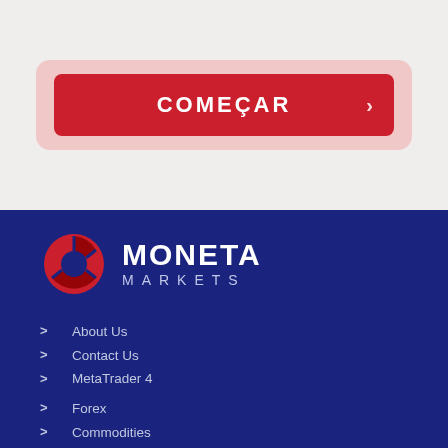[Figure (screenshot): A red call-to-action button labeled COMEÇAR with a right arrow, inside a pink rounded rectangle on a light gray background.]
[Figure (logo): Moneta Markets logo: a circular red and dark red segmented icon on the left, with MONETA in bold white and MARKETS in spaced light letters below, on a dark navy blue background.]
> About Us
> Contact Us
> MetaTrader 4
> Forex
> Commodities
> Indices
> Share CFDs